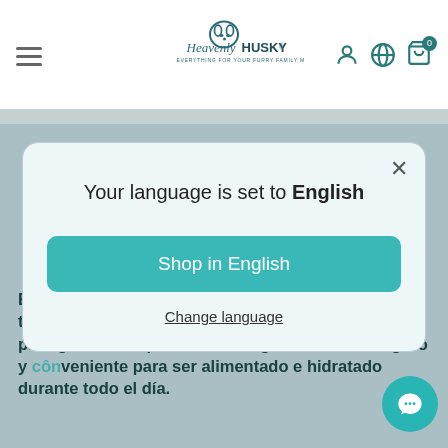Heavenly HUSKY — EVERYTHING FOR YOUR FURRY FAMILY MEMBER
Cantidad
[Figure (screenshot): Language selection modal dialog with text 'Your language is set to English', a teal 'Shop in English' button, and a 'Change language' link, overlaid on an e-commerce product page]
Estas placas de comida de calidad aliment… platos totalmente impermeables, son perf… para un día para garantizar que su PET tenga un método seguro y cônveniente para ser alimentado e hidratado durante todo el día.